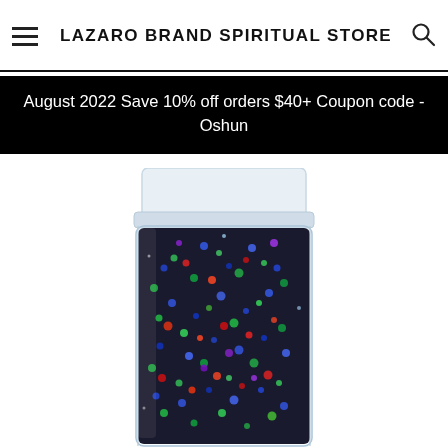LAZARO BRAND SPIRITUAL STORE
August 2022 Save 10% off orders $40+ Coupon code - Oshun
[Figure (photo): A clear glass jar with a white lid filled with colorful mixed beads/glitter in green, blue, red, and other colors against a white background.]